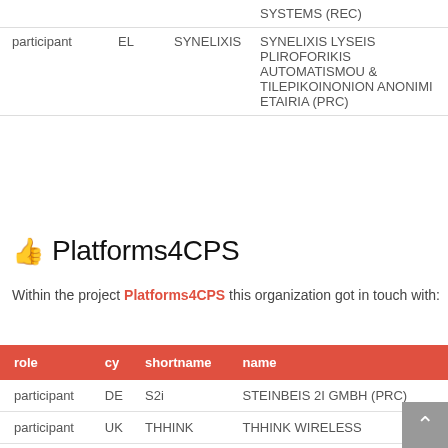| role | cy | shortname | name |
| --- | --- | --- | --- |
| participant | EL | SYNELIXIS | SYNELIXIS LYSEIS PLIROFORIKIS AUTOMATISMOU & TILEPIKOINONION ANONIMI ETAIRIA (PRC) |
Platforms4CPS
Within the project Platforms4CPS this organization got in touch with:
| role | cy | shortname | name |
| --- | --- | --- | --- |
| participant | DE | S2i | STEINBEIS 2I GMBH (PRC) |
| participant | UK | THHINK | THHINK WIRELESS |